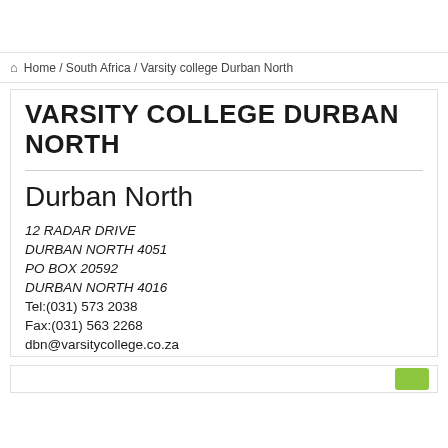Home / South Africa / Varsity college Durban North
VARSITY COLLEGE DURBAN NORTH
Durban North
12 RADAR DRIVE
DURBAN NORTH 4051
PO BOX 20592
DURBAN NORTH 4016
Tel:(031) 573 2038
Fax:(031) 563 2268
dbn@varsitycollege.co.za